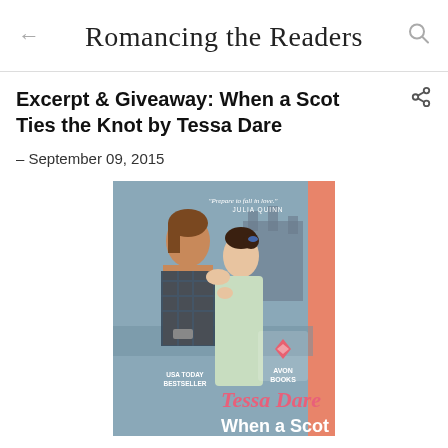Romancing the Readers
Excerpt & Giveaway: When a Scot Ties the Knot by Tessa Dare
– September 09, 2015
[Figure (photo): Book cover of 'When a Scot Ties the Knot' by Tessa Dare, published by Avon Books. Shows a shirtless man in a tartan wrap and a woman in a pale green dress almost kissing, with a Scottish castle in the background. Text on cover includes 'Prepare to fall in love. – Julia Quinn', 'USA Today Bestseller', 'Tessa Dare', 'When a Scot', and the Avon Books logo.]